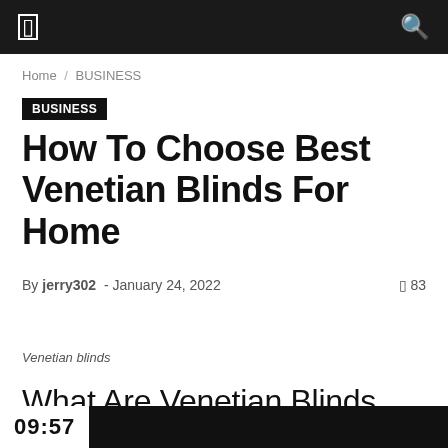☰ [menu] [search]
Home / BUSINESS
BUSINESS
How To Choose Best Venetian Blinds For Home
By jerry302 - January 24, 2022  🗨 83
Venetian blinds
What Are Venetian Blinds
09:57